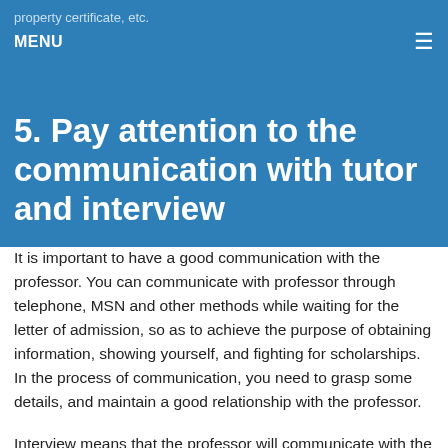property certificate, etc.
MENU
5. Pay attention to the communication with tutor and interview
It is important to have a good communication with the professor. You can communicate with professor through telephone, MSN and other methods while waiting for the letter of admission, so as to achieve the purpose of obtaining information, showing yourself, and fighting for scholarships. In the process of communication, you need to grasp some details, and maintain a good relationship with the professor.
Interview means that the professor will communicate with the students through remote and on-site interviews to verify the authenticity of the application materials before the school